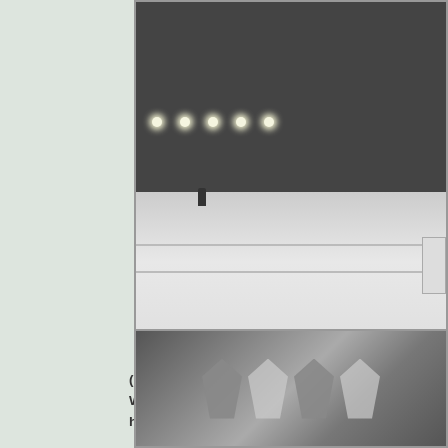[Figure (photo): Black and white historical photograph (1913) showing a street-level view toward a theatre storefront in winter/snow conditions, with lights visible along the building facade and a small figure visible on the street. A partial vertical sign is visible at the right edge.]
(1913)* - View toward th[e] Woodley Theatre is und[er...] have a vertical sign.
[Figure (photo): Black and white historical photograph showing decorative architectural or sculptural detail, possibly foliage or wing motifs on a building facade.]